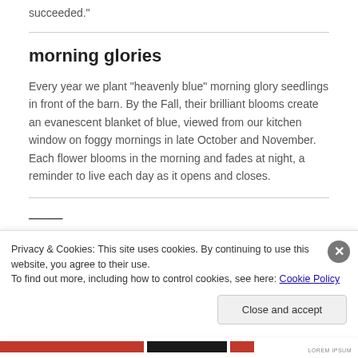succeeded."
morning glories
Every year we plant "heavenly blue" morning glory seedlings in front of the barn. By the Fall, their brilliant blooms create an evanescent blanket of blue, viewed from our kitchen window on foggy mornings in late October and November. Each flower blooms in the morning and fades at night, a reminder to live each day as it opens and closes.
Privacy & Cookies: This site uses cookies. By continuing to use this website, you agree to their use.
To find out more, including how to control cookies, see here: Cookie Policy
Close and accept